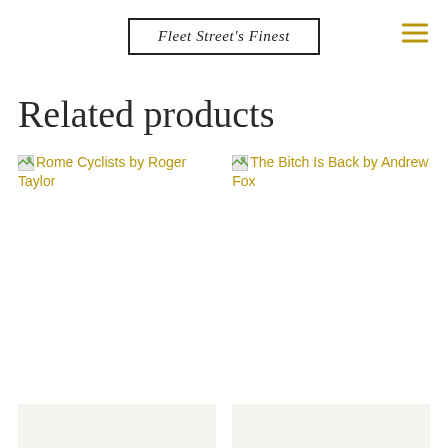Fleet Street's Finest
Related products
[Figure (other): Broken image placeholder for 'Rome Cyclists by Roger Taylor' product link]
[Figure (other): Broken image placeholder for 'The Bitch Is Back by Andrew Fox' product link]